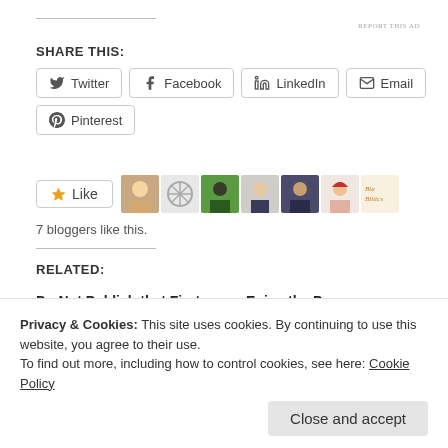REPORT THIS AD
SHARE THIS:
Twitter
Facebook
LinkedIn
Email
Pinterest
[Figure (other): Like button with star icon and 7 blogger avatar thumbnails]
7 bloggers like this.
RELATED:
Do Not Publish that First Draft
November 30, 2021
Enjoy the Process
November 2, 2017
In "General Topics"
Privacy & Cookies: This site uses cookies. By continuing to use this website, you agree to their use.
To find out more, including how to control cookies, see here: Cookie Policy
Close and accept